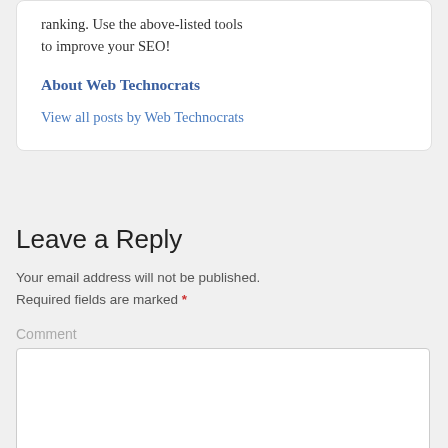ranking. Use the above-listed tools to improve your SEO!
About Web Technocrats
View all posts by Web Technocrats
Leave a Reply
Your email address will not be published. Required fields are marked *
Comment